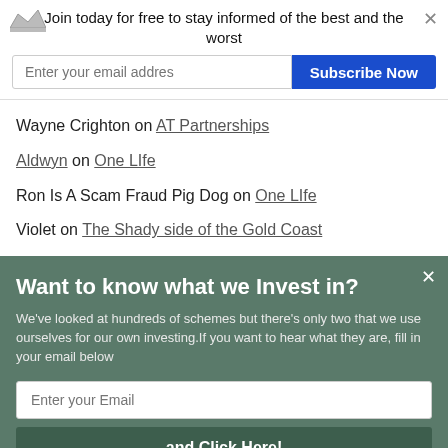Join today for free to stay informed of the best and the worst
Enter your email addres | Subscribe Now
Wayne Crighton on AT Partnerships
Aldwyn on One LIfe
Ron Is A Scam Fraud Pig Dog on One LIfe
Violet on The Shady side of the Gold Coast
Sara on One LIfe
Want to know what we Invest in?
We've looked at hundreds of schemes but there's only two that we use ourselves for our own investing.If you want to hear what they are, fill in your email below
Enter your Email
and Click Here!